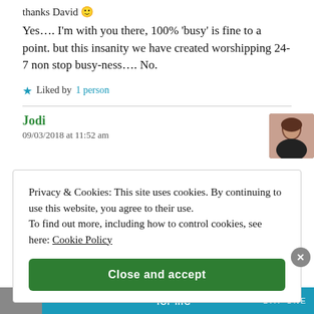thanks David 🙂
Yes…. I'm with you there, 100% 'busy' is fine to a point. but this insanity we have created worshipping 24-7 non stop busy-ness…. No.
★ Liked by 1 person
Jodi
09/03/2018 at 11:52 am
Privacy & Cookies: This site uses cookies. By continuing to use this website, you agree to their use. To find out more, including how to control cookies, see here: Cookie Policy
Close and accept
for life   DAY ONE